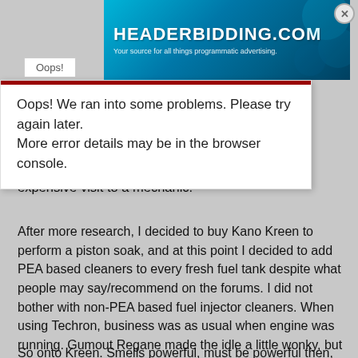[Figure (screenshot): Advertisement banner for HEADERBIDDING.COM with teal/blue gradient background. Text reads 'HEADERBIDDING.COM' and 'Your source for all things programmatic advertising.']
Oops!
Oops! We ran into some problems. Please try again later. More error details may be in the browser console.
expensive visit to a mechanic.
After more research, I decided to buy Kano Kreen to perform a piston soak, and at this point I decided to add PEA based cleaners to every fresh fuel tank despite what people may say/recommend on the forums. I did not bother with non-PEA based fuel injector cleaners. When using Techron, business was as usual when engine was running. Gumout Regane made the idle a little wonky, but no big deal. Redline SI-1 exhaust can really stink like rotten eggs. That's a confirmed from other forum postings using it. I also used Royal Purple Max-Atomizer, 2 bottles at once, the engine ran fine. I eventually went back to Techron Complete Fuel System Cleaner 12oz and just stuck with it throughout the DIY process.
So onto Kreen. Smells powerful, must be powerful then, no?